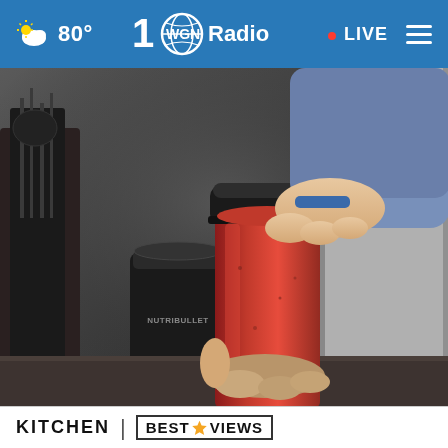WGN Radio — 80° LIVE
[Figure (screenshot): A hand holding a red NutriBullet blender cup with black lid, next to a black NutriBullet blender base on a kitchen counter, with a stainless steel refrigerator in the background.]
KITCHEN | BESTREVIEWS